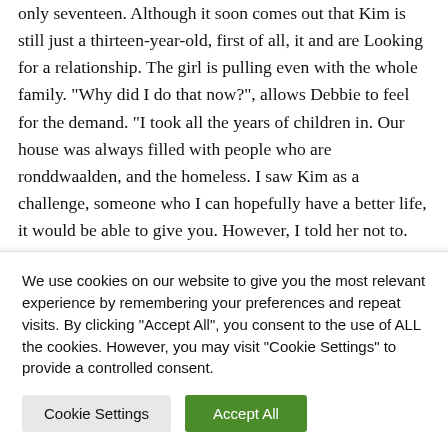only seventeen. Although it soon comes out that Kim is still just a thirteen-year-old, first of all, it and are Looking for a relationship. The girl is pulling even with the whole family. "Why did I do that now?", allows Debbie to feel for the demand. "I took all the years of children in. Our house was always filled with people who are ronddwaalden, and the homeless. I saw Kim as a challenge, someone who I can hopefully have a better life, it would be able to give you. However, I told her not to. When she is at her ease, began to sense in me, she began to also have problems." The girls are often in conflict, in which Marshall and his mother begs to be
We use cookies on our website to give you the most relevant experience by remembering your preferences and repeat visits. By clicking "Accept All", you consent to the use of ALL the cookies. However, you may visit "Cookie Settings" to provide a controlled consent.